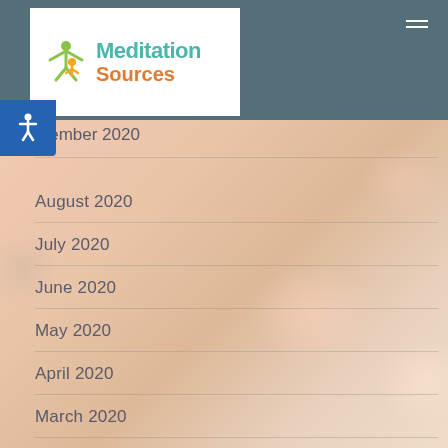[Figure (logo): Meditation Sources logo with stylized people icon in yellow/green/orange and teal/orange text]
September 2020
August 2020
July 2020
June 2020
May 2020
April 2020
March 2020
February 2020
January 2020